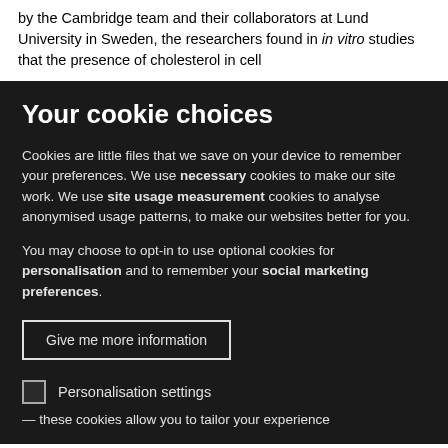by the Cambridge team and their collaborators at Lund University in Sweden, the researchers found in in vitro studies that the presence of cholesterol in cell
Your cookie choices
Cookies are little files that we save on your device to remember your preferences. We use necessary cookies to make our site work. We use site usage measurement cookies to analyse anonymised usage patterns, to make our websites better for you.
You may choose to opt-in to use optional cookies for personalisation and to remember your social marketing preferences.
Give me more information
Personalisation settings
— these cookies allow you to tailor your experience